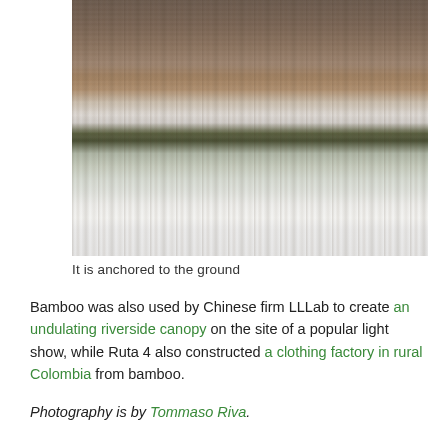[Figure (photo): Close-up photograph of bamboo structure anchored to the ground, showing vertical bamboo poles with water or rain falling, and green foliage visible near the base, taken by Tommaso Riva]
It is anchored to the ground
Bamboo was also used by Chinese firm LLLab to create an undulating riverside canopy on the site of a popular light show, while Ruta 4 also constructed a clothing factory in rural Colombia from bamboo.
Photography is by Tommaso Riva.